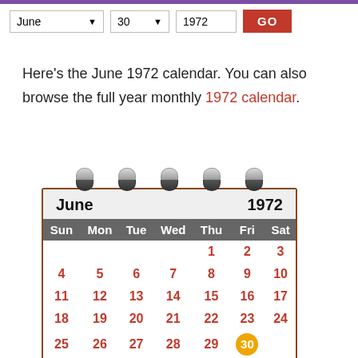[Figure (screenshot): Month/day/year dropdown controls with a GO button for navigating to a specific calendar date. Shows: June (dropdown), 30 (dropdown), 1972 (text), GO (red button).]
Here's the June 1972 calendar. You can also browse the full year monthly 1972 calendar.
[Figure (illustration): A decorative flip calendar widget showing June 1972 with spiral rings at the top. The calendar grid shows days Sun-Sat. Row 1: 1,2,3. Row 2: 4,5,6,7,8,9,10. Row 3: 11,12,13,14,15,16,17. Row 4: 18,19,20,21,22,23,24. Row 5: 25,26,27,28,29,30(highlighted in orange circle). All dates in red. Day 30 is highlighted with an orange circle.]